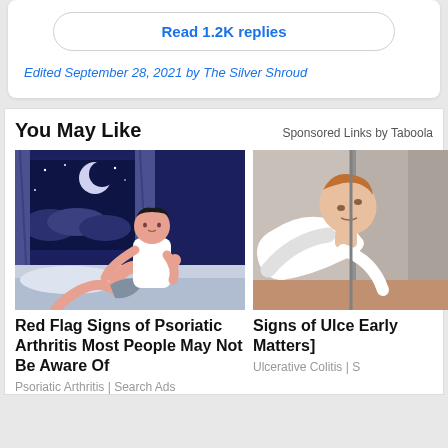Read 1.2K replies
Edited September 28, 2021 by The Silver Shroud
You May Like
Sponsored Links by Taboola
[Figure (illustration): Illustration of a man sitting on a bed at night holding his leg, with a window showing moon and stars in the background]
Red Flag Signs of Psoriatic Arthritis Most People May Not Be Aware Of
Psoriatic Arthritis | Search Ads
[Figure (photo): Photo of a man tilting his head back against a wall]
Signs of Ulce Early Matters]
Ulcerative Colitis | S